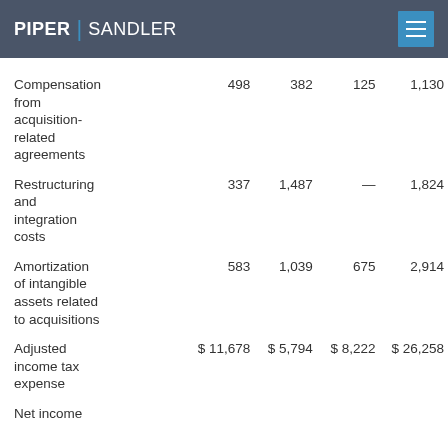PIPER | SANDLER
|  |  |  |  |  |
| --- | --- | --- | --- | --- |
| Compensation from acquisition-related agreements | 498 | 382 | 125 | 1,130 |
| Restructuring and integration costs | 337 | 1,487 | — | 1,824 |
| Amortization of intangible assets related to acquisitions | 583 | 1,039 | 675 | 2,914 |
| Adjusted income tax expense | $ 11,678 | $ 5,794 | $ 8,222 | $ 26,258 |
| Net income |  |  |  |  |